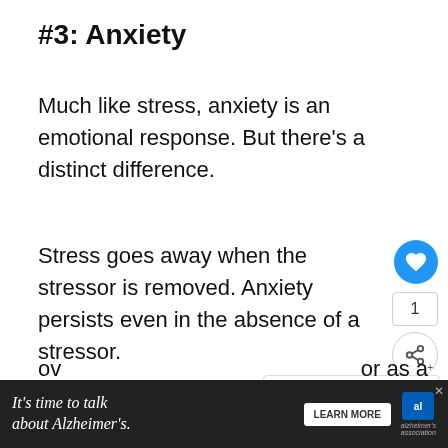#3: Anxiety
Much like stress, anxiety is an emotional response. But there’s a distinct difference.
Stress goes away when the stressor is removed. Anxiety persists even in the absence of a stressor.
It can be experienced as excessive worry
[Figure (screenshot): UI buttons: heart/like button (blue circle), count showing 1, and share button]
[Figure (infographic): What's Next widget showing '17 Odd Reasons Wh...' with a thumbnail image]
[Figure (infographic): Advertisement banner: It's time to talk about Alzheimer's. with LEARN MORE button and Alzheimer's Association logo]